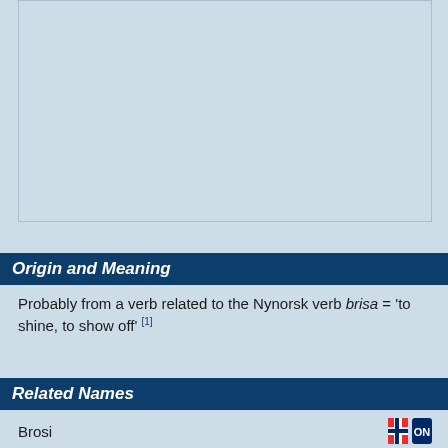[Figure (other): Light blue placeholder image box with border at the top of the page]
Origin and Meaning
Probably from a verb related to the Nynorsk verb brisa = 'to shine, to show off' [1]
Related Names
Brosi